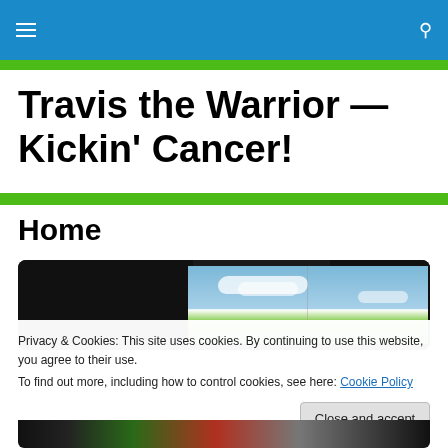Travis the Warrior — Kickin' Cancer!
Travis the Warrior — Kickin' Cancer!
Home
[Figure (photo): Media player / video frame embedded in dark rounded container showing a sky with clouds]
Privacy & Cookies: This site uses cookies. By continuing to use this website, you agree to their use.
To find out more, including how to control cookies, see here: Cookie Policy
Close and accept